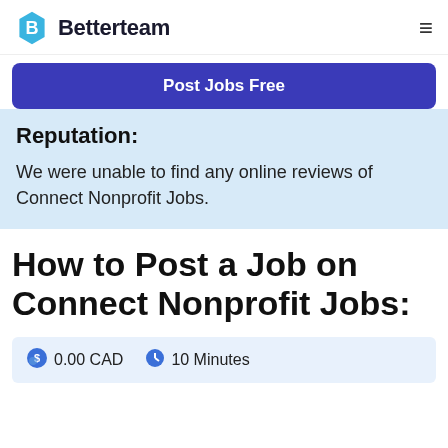Betterteam
Post Jobs Free
Reputation:
We were unable to find any online reviews of Connect Nonprofit Jobs.
How to Post a Job on Connect Nonprofit Jobs:
0.00 CAD   10 Minutes